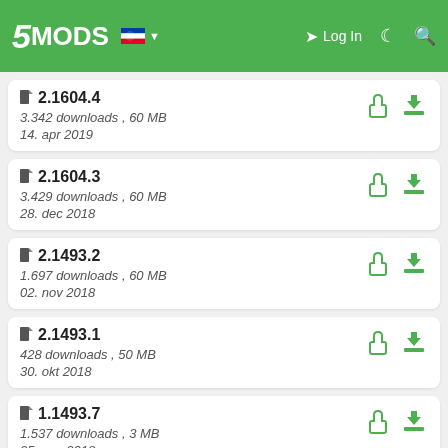5MODS — Log In
2.1604.4 — 3.342 downloads , 60 MB — 14. apr 2019
2.1604.3 — 3.429 downloads , 60 MB — 28. dec 2018
2.1493.2 — 1.697 downloads , 60 MB — 02. nov 2018
2.1493.1 — 428 downloads , 50 MB — 30. okt 2018
1.1493.7 — 1.537 downloads , 3 MB — 25. avg 2018